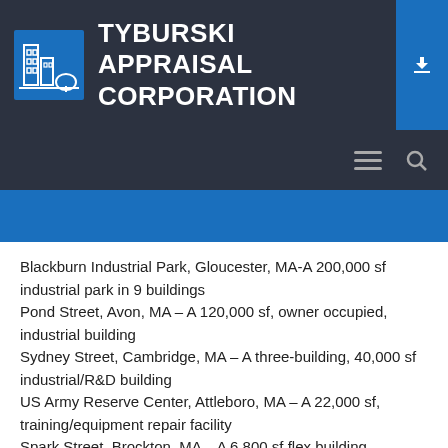TYBURSKI APPRAISAL CORPORATION
Blackburn Industrial Park, Gloucester, MA-A 200,000 sf industrial park in 9 buildings
Pond Street, Avon, MA – A 120,000 sf, owner occupied, industrial building
Sydney Street, Cambridge, MA – A three-building, 40,000 sf industrial/R&D building
US Army Reserve Center, Attleboro, MA – A 22,000 sf, training/equipment repair facility
Spark Street, Brockton, MA – A 6,800 sf flex building
Crescent Avenue, Chelsea, MA – A 32,000 sf, light manufacturing industrial building
Railroad Street, Abington, MA – A 130,000 sf, 4 story, mill building